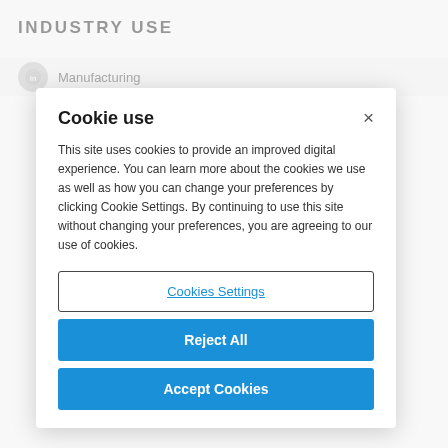INDUSTRY USE
Manufacturing
Cookie use
This site uses cookies to provide an improved digital experience. You can learn more about the cookies we use as well as how you can change your preferences by clicking Cookie Settings. By continuing to use this site without changing your preferences, you are agreeing to our use of cookies.
Cookies Settings
Reject All
Accept Cookies